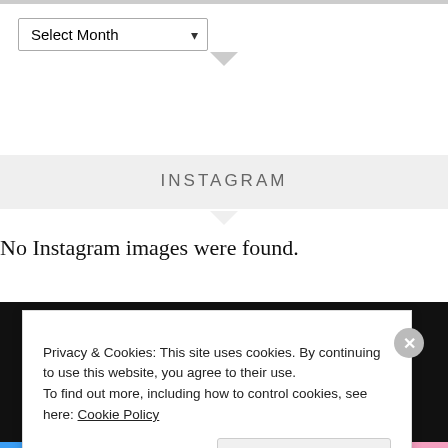Select Month
INSTAGRAM
No Instagram images were found.
Privacy & Cookies: This site uses cookies. By continuing to use this website, you agree to their use.
To find out more, including how to control cookies, see here: Cookie Policy
Close and accept